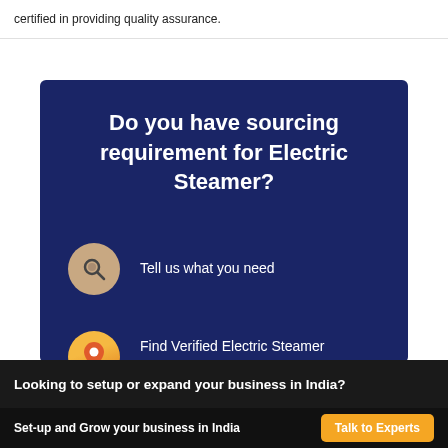certified in providing quality assurance.
Do you have sourcing requirement for Electric Steamer?
Tell us what you need
Find Verified Electric Steamer suppliers in India
Looking to setup or expand your business in India?
Set-up and Grow your business in India
Talk to Experts